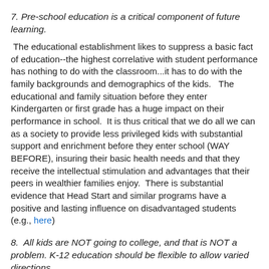7.  Pre-school education is a critical component of future learning.
The educational establishment likes to suppress a basic fact of education--the highest correlative with student performance has nothing to do with the classroom...it has to do with the family backgrounds and demographics of the kids.   The educational and family situation before they enter Kindergarten or first grade has a huge impact on their performance in school.  It is thus critical that we do all we can as a society to provide less privileged kids with substantial support and enrichment before they enter school (WAY BEFORE), insuring their basic health needs and that they receive the intellectual stimulation and advantages that their peers in wealthier families enjoy.  There is substantial evidence that Head Start and similar programs have a positive and lasting influence on disadvantaged students (e.g., here)
8.  All kids are NOT going to college, and that is NOT a problem. K-12 education should be flexible to allow varied directions.